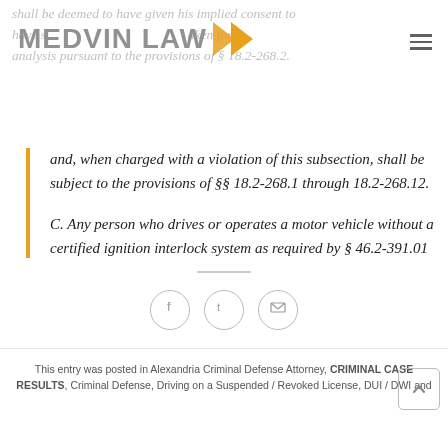MEDVIN LAW
shall be deemed to have given his implied consent to have s[amples of his blood, breath, or other bodily substance taken for analysis pursuant to the provisions of § 18.2-268.2. and, when charged with a violation of this subsection, shall be subject to the provisions of §§ 18.2-268.1 through 18.2-268.12.
C. Any person who drives or operates a motor vehicle without a certified ignition interlock system as required by § 46.2-391.01 is guilty of a Class 1 misdemeanor and is subject to administrative revocation of his driver's license pursuant to §§ 46.2-389 and 46.2-391.
This entry was posted in Alexandria Criminal Defense Attorney, CRIMINAL CASE RESULTS, Criminal Defense, Driving on a Suspended / Revoked License, DUI / DWI and